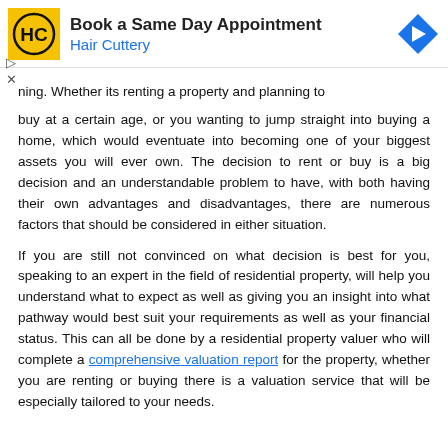[Figure (advertisement): Hair Cuttery advertisement banner: Book a Same Day Appointment with Hair Cuttery logo and direction arrow icon]
ning. Whether its renting a property and planning to buy at a certain age, or you wanting to jump straight into buying a home, which would eventuate into becoming one of your biggest assets you will ever own. The decision to rent or buy is a big decision and an understandable problem to have, with both having their own advantages and disadvantages, there are numerous factors that should be considered in either situation.
If you are still not convinced on what decision is best for you, speaking to an expert in the field of residential property, will help you understand what to expect as well as giving you an insight into what pathway would best suit your requirements as well as your financial status. This can all be done by a residential property valuer who will complete a comprehensive valuation report for the property, whether you are renting or buying there is a valuation service that will be especially tailored to your needs.